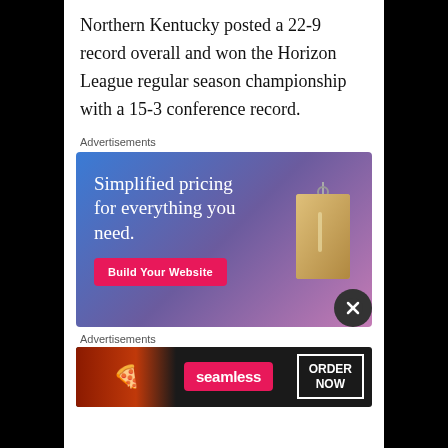Northern Kentucky posted a 22-9 record overall and won the Horizon League regular season championship with a 15-3 conference record.
Advertisements
[Figure (illustration): Web hosting advertisement with blue-to-purple gradient background. Text reads 'Simplified pricing for everything you need.' with a pink 'Build Your Website' button and a price tag illustration on the right.]
Advertisements
[Figure (illustration): Seamless food delivery advertisement on dark background with pizza image on left, 'seamless' logo in pink, and 'ORDER NOW' button with white border on right.]